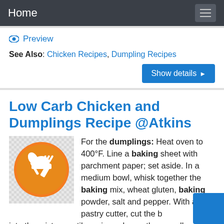Home
Preview
See Also: Chicken Recipes, Dumpling Recipes
Show details
Low Carb Chicken and Dumplings Recipe @Atkins
For the dumplings: Heat oven to 400°F. Line a baking sheet with parchment paper; set aside. In a medium bowl, whisk together the baking mix, wheat gluten, baking powder, salt and pepper. With a pastry cutter, cut the b... into the mixture until no pieces larger than small peas remain. Whisk egg and cream together in a cup